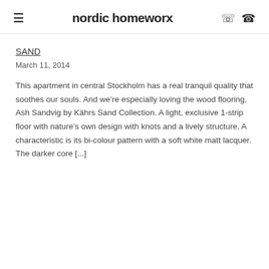nordic homeworx
SAND
March 11, 2014
This apartment in central Stockholm has a real tranquil quality that soothes our souls. And we’re especially loving the wood flooring, Ash Sandvig by Kährs Sand Collection. A light, exclusive 1-strip floor with nature’s own design with knots and a lively structure. A characteristic is its bi-colour pattern with a soft white matt lacquer. The darker core [...]